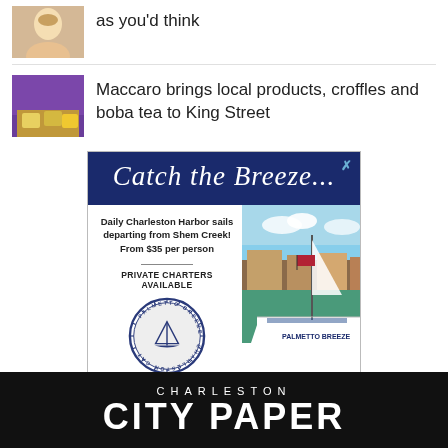[Figure (photo): Small thumbnail photo of a woman with blonde hair]
as you'd think
[Figure (photo): Small thumbnail photo of a cafe interior with purple lighting and baked goods]
Maccaro brings local products, croffles and boba tea to King Street
[Figure (illustration): Advertisement for Palmetto Breeze Charleston Cat boat tours. Header reads 'Catch the Breeze...' on dark navy background. Ad body shows text: 'Daily Charleston Harbor sails departing from Shem Creek! From $35 per person' and 'PRIVATE CHARTERS AVAILABLE' with Palmetto Breeze Charleston Cat circular logo, and a photo of the catamaran boat at a marina.]
CHARLESTON CITY PAPER